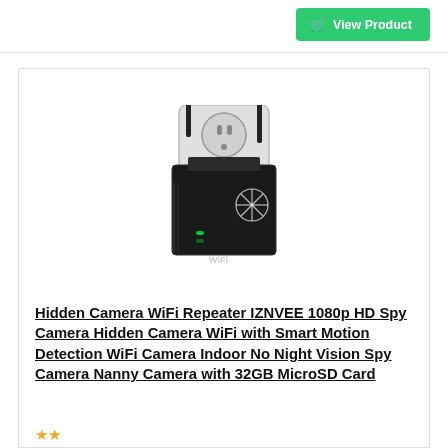View Product
RANK NO. #14
SALE
[Figure (photo): WiFi repeater device (black) with two antennas plugged into a wall outlet, with green LED indicators and WiFi branding]
Hidden Camera WiFi Repeater IZNVEE 1080p HD Spy Camera Hidden Camera WiFi with Smart Motion Detection WiFi Camera Indoor No Night Vision Spy Camera Nanny Camera with 32GB MicroSD Card